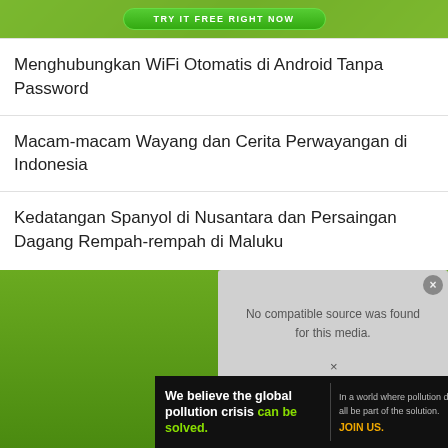[Figure (photo): Top banner advertisement with green background and a green button]
Menghubungkan WiFi Otomatis di Android Tanpa Password
Macam-macam Wayang dan Cerita Perwayangan di Indonesia
Kedatangan Spanyol di Nusantara dan Persaingan Dagang Rempah-rempah di Maluku
[Figure (screenshot): Video player showing 'No compatible source was found for this media.' with a Pure Earth advertisement bar at the bottom]
[Figure (other): Pure Earth advertisement: 'We believe the global pollution crisis can be solved. In a world where pollution doesn't stop at borders, we can all be part of the solution. JOIN US.']